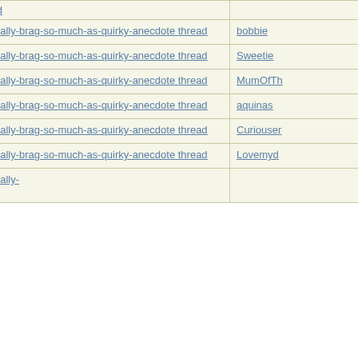| Subject | Author |
| --- | --- |
| Re: Not-really-brag-so-much-as-quirky-anecdote thread | bobbie |
| Re: Not-really-brag-so-much-as-quirky-anecdote thread | Sweetie |
| Re: Not-really-brag-so-much-as-quirky-anecdote thread | MumOfTh... |
| Re: Not-really-brag-so-much-as-quirky-anecdote thread | aquinas |
| Re: Not-really-brag-so-much-as-quirky-anecdote thread | Curiouser... |
| Re: Not-really-brag-so-much-as-quirky-anecdote thread | Lovemyd... |
| Re: Not-really-brag-so-much-as-quirky-anecdote thread |  |